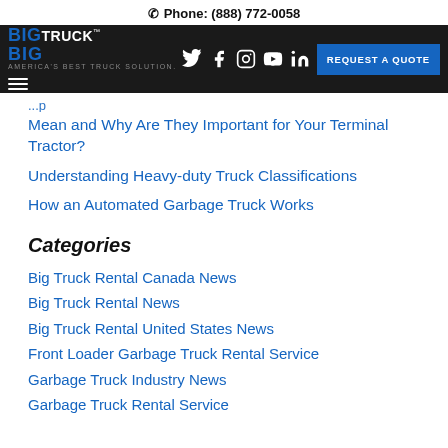Phone: (888) 772-0058
[Figure (logo): Big Truck Rental logo with navigation bar including social icons and REQUEST A QUOTE button]
Mean and Why Are They Important for Your Terminal Tractor?
Understanding Heavy-duty Truck Classifications
How an Automated Garbage Truck Works
Categories
Big Truck Rental Canada News
Big Truck Rental News
Big Truck Rental United States News
Front Loader Garbage Truck Rental Service
Garbage Truck Industry News
Garbage Truck Rental Service